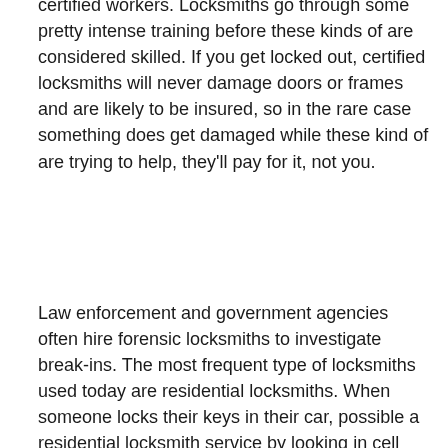certified workers. Locksmiths go through some pretty intense training before these kinds of are considered skilled. If you get locked out, certified locksmiths will never damage doors or frames and are likely to be insured, so in the rare case something does get damaged while these kind of are trying to help, they'll pay for it, not you.
Law enforcement and government agencies often hire forensic locksmiths to investigate break-ins. The most frequent type of locksmiths used today are residential locksmiths. When someone locks their keys in their car, possible a residential locksmith service by looking in cell phone book. Most residential locksmiths have really own shop in outlet shopping district. Most will have a van where they store their equipment. Will certainly allow the offer mobile services. Mobile services are on the market twenty 4 hours a year. These services include getting keys out of locked cars and homes, replacing malfunctioning